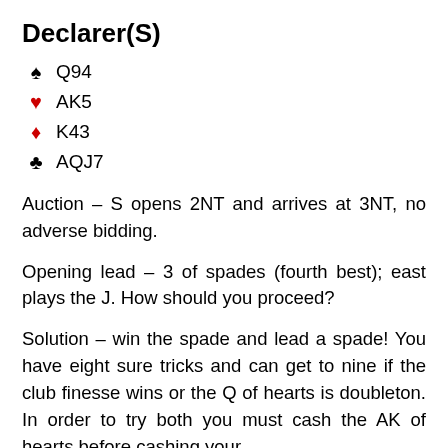Declarer(S)
♠ Q94
♥ AK5
♦ K43
♣ AQJ7
Auction – S opens 2NT and arrives at 3NT, no adverse bidding.
Opening lead – 3 of spades (fourth best); east plays the J. How should you proceed?
Solution – win the spade and lead a spade! You have eight sure tricks and can get to nine if the club finesse wins or the Q of hearts is doubleton. In order to try both you must cash the AK of hearts before cashing your